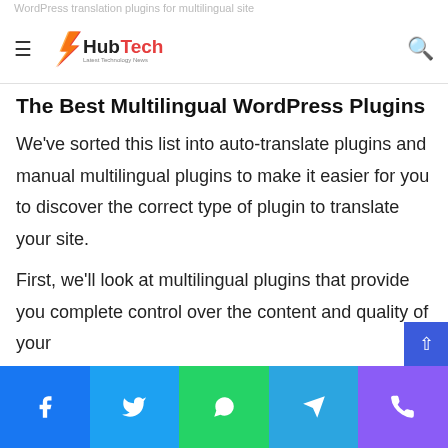WordPress translation plugins for multilingual site — HubTech | Latest Technology News
The Best Multilingual WordPress Plugins
We've sorted this list into auto-translate plugins and manual multilingual plugins to make it easier for you to discover the correct type of plugin to translate your site.
First, we'll look at multilingual plugins that provide you complete control over the content and quality of your
Facebook | Twitter | WhatsApp | Telegram | Phone